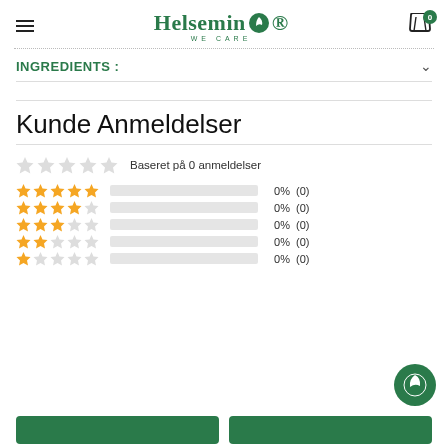Helsemin WE CARE
INGREDIENTS :
Kunde Anmeldelser
Baseret på 0 anmeldelser
| Stars | Bar | Pct | Count |
| --- | --- | --- | --- |
| ★★★★★ |  | 0% | (0) |
| ★★★★☆ |  | 0% | (0) |
| ★★★☆☆ |  | 0% | (0) |
| ★★☆☆☆ |  | 0% | (0) |
| ★☆☆☆☆ |  | 0% | (0) |